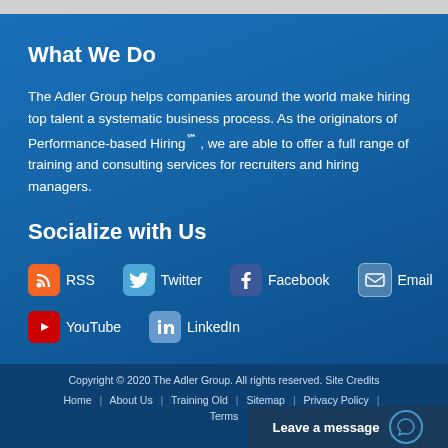What We Do
The Adler Group helps companies around the world make hiring top talent a systematic business process. As the originators of Performance-based Hiring℠ , we are able to offer a full range of training and consulting services for recruiters and hiring managers.
Socialize with Us
RSS
Twitter
Facebook
Email
YouTube
LinkedIn
Copyright © 2020 The Adler Group. All rights reserved. Site Credits | Home | About Us | Training Old | Sitemap | Privacy Policy | Terms
Leave a message